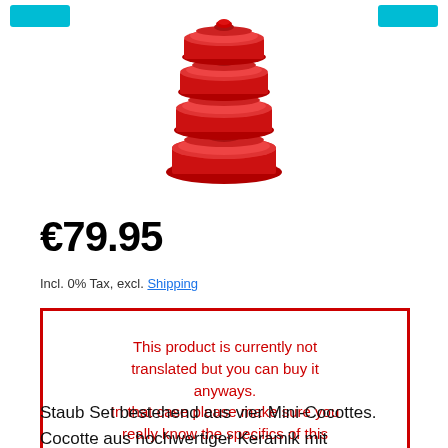[Figure (photo): Stacked red ceramic mini cocottes (Staub set of four), viewed from slightly above, set against a white background.]
€79.95
Incl. 0% Tax, excl. Shipping
This product is currently not translated but you can buy it anyways.
In that case please make sure you really know the specifics of this product and that this product really is what you are looking for.
Staub Set bestehend aus vier Mini-Cocottes. Cocotte aus hochwertiger Keramik mit emaillierter Oberfläche. Ideal